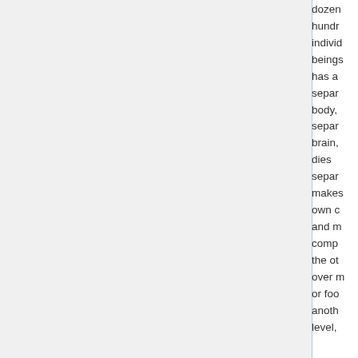dozen hundreds individuals beings has a separ body, separ brain, dies separ makes own c and m comp the ot over m or foo anoth level,